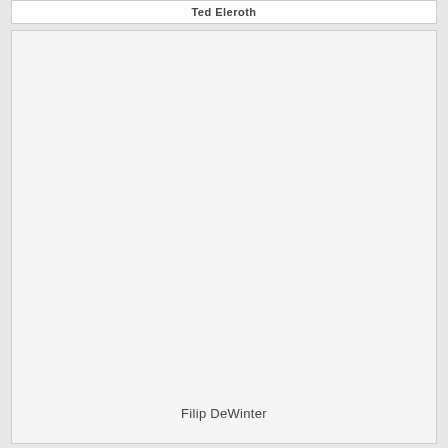Ted Eleroth
[Figure (photo): Large blank/light gray image area placeholder for a photo]
Filip DeWinter